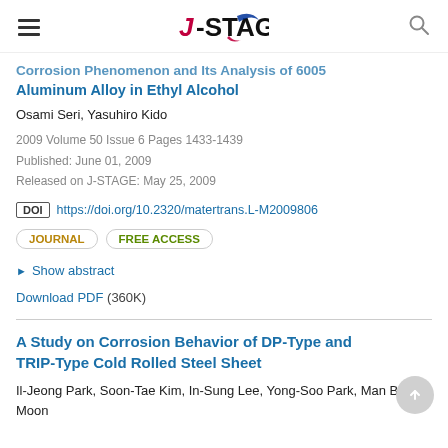J-STAGE
Corrosion Phenomenon and Its Analysis of 6005 Aluminum Alloy in Ethyl Alcohol
Osami Seri, Yasuhiro Kido
2009 Volume 50 Issue 6 Pages 1433-1439
Published: June 01, 2009
Released on J-STAGE: May 25, 2009
DOI https://doi.org/10.2320/matertrans.L-M2009806
JOURNAL  FREE ACCESS
▶ Show abstract
Download PDF (360K)
A Study on Corrosion Behavior of DP-Type and TRIP-Type Cold Rolled Steel Sheet
Il-Jeong Park, Soon-Tae Kim, In-Sung Lee, Yong-Soo Park, Man Been Moon